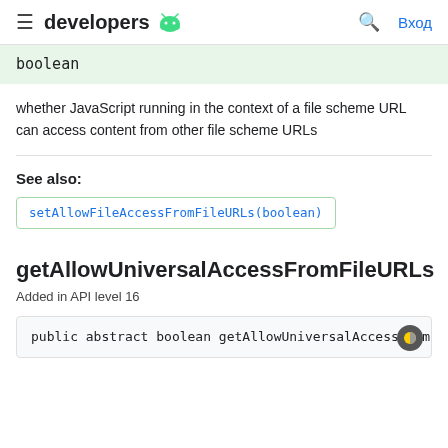developers [android logo] | [search] Вход
boolean
whether JavaScript running in the context of a file scheme URL can access content from other file scheme URLs
See also:
setAllowFileAccessFromFileURLs(boolean)
getAllowUniversalAccessFromFileURLs
Added in API level 16
public abstract boolean getAllowUniversalAccessFromF